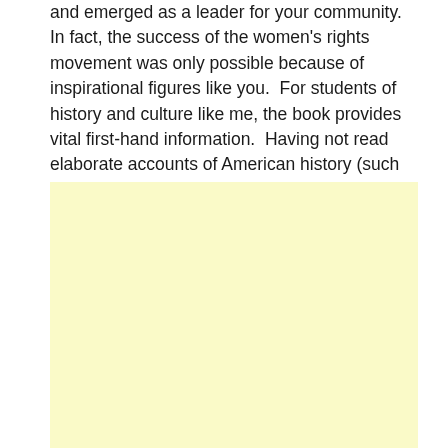and emerged as a leader for your community.  In fact, the success of the women's rights movement was only possible because of inspirational figures like you.  For students of history and culture like me, the book provides vital first-hand information.  Having not read elaborate accounts of American history (such as Howard Zinn's People's History of America, I find your book a great introduction as well as a spur for further reading.
[Figure (other): A large light yellow/cream colored blank rectangle box]